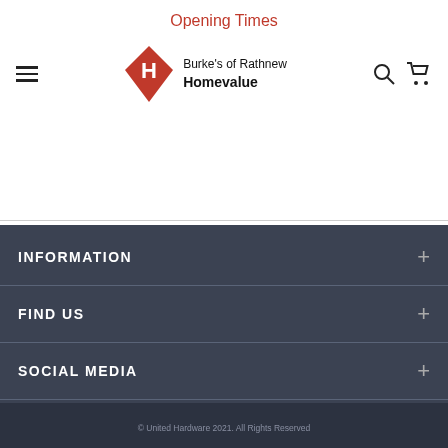Opening Times
[Figure (logo): Burke's of Rathnew Homevalue logo with red diamond H icon]
INFORMATION
FIND US
SOCIAL MEDIA
© United Hardware 2021. All Rights Reserved